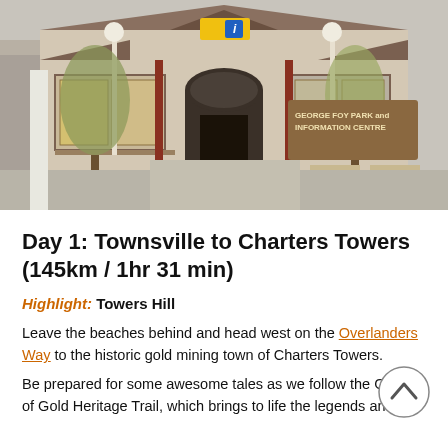[Figure (photo): Photograph of George Foy Park and Information Centre building — a heritage Victorian-style structure with a central arched entrance, decorative lamp posts, and a sign reading 'GEORGE FOY PARK and INFORMATION CENTRE'. Trees and park benches are visible in the foreground.]
Day 1: Townsville to Charters Towers (145km / 1hr 31 min)
Highlight: Towers Hill
Leave the beaches behind and head west on the Overlanders Way to the historic gold mining town of Charters Towers.
Be prepared for some awesome tales as we follow the Ghosts of Gold Heritage Trail, which brings to life the legends and the